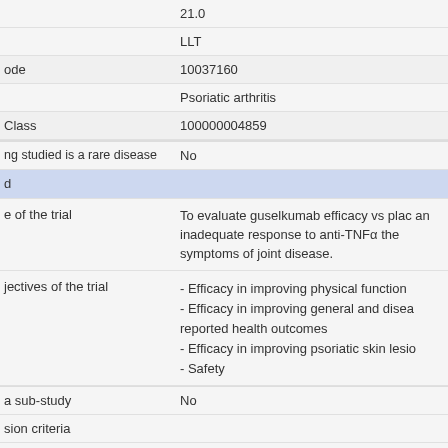|  | 21.0 |
|  | LLT |
| ode | 10037160 |
|  | Psoriatic arthritis |
| Class | 100000004859 |
| ng studied is a rare disease | No |
| d |  |
| e of the trial | To evaluate guselkumab efficacy vs plac an inadequate response to anti-TNFα the symptoms of joint disease. |
| jectives of the trial | - Efficacy in improving physical function
- Efficacy in improving general and disea reported health outcomes
- Efficacy in improving psoriatic skin lesio
- Safety |
| a sub-study | No |
| sion criteria |  |